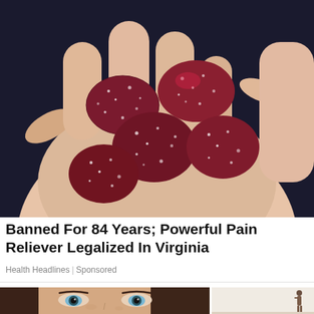[Figure (photo): A hand holding several dark red sugar-coated gummy candies against a dark background]
Banned For 84 Years; Powerful Pain Reliever Legalized In Virginia
Health Headlines | Sponsored
[Figure (photo): Close-up of a woman's face showing eyes and brows]
[Figure (photo): A small human figure silhouette against a light background]